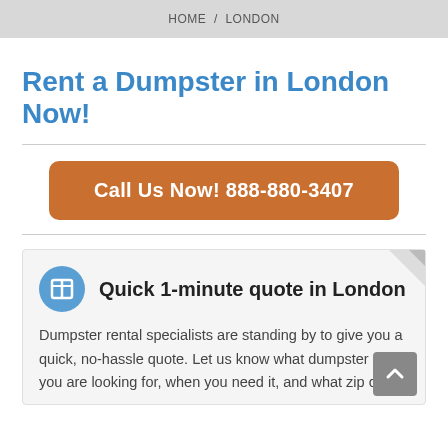HOME / LONDON
Rent a Dumpster in London Now!
Call Us Now! 888-880-3407
Quick 1-minute quote in London
Dumpster rental specialists are standing by to give you a quick, no-hassle quote. Let us know what dumpster size you are looking for, when you need it, and what zip code